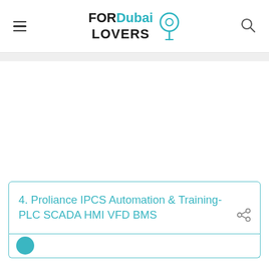FOR Dubai LOVERS
4. Proliance IPCS Automation & Training- PLC SCADA HMI VFD BMS